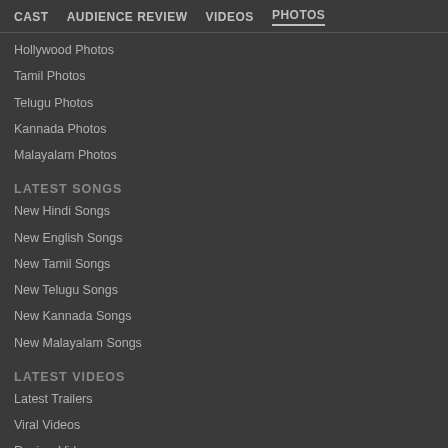CAST  AUDIENCE REVIEW  VIDEOS  PHOTOS
Hollywood Photos
Tamil Photos
Telugu Photos
Kannada Photos
Malayalam Photos
LATEST SONGS
New Hindi Songs
New English Songs
New Tamil Songs
New Telugu Songs
New Kannada Songs
New Malayalam Songs
LATEST VIDEOS
Latest Trailers
Viral Videos
Review Videos
Box Office Videos